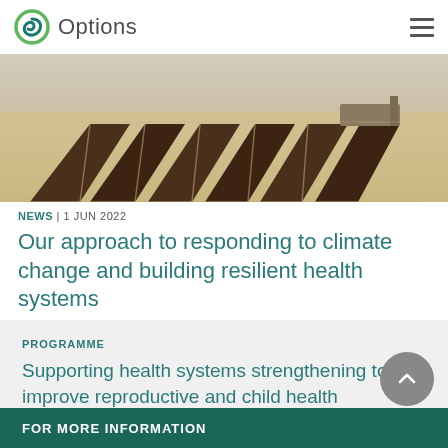Options
[Figure (photo): Aerial or ground-level photograph of rectangular dark soil plots or panels arranged in a sandy/arid landscape, viewed from an angle showing perspective.]
NEWS | 1 JUN 2022
Our approach to responding to climate change and building resilient health systems
PROGRAMME
Supporting health systems strengthening to improve reproductive and child health
FOR MORE INFORMATION